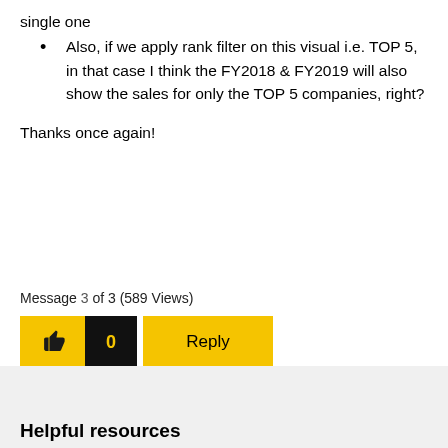Also, if we apply rank filter on this visual i.e. TOP 5, in that case I think the FY2018 & FY2019 will also show the sales for only the TOP 5 companies, right?
Thanks once again!
Message 3 of 3 (589 Views)
[Figure (other): Like button with thumbs up icon in yellow, count showing 0 in black, and Reply button in yellow]
Helpful resources